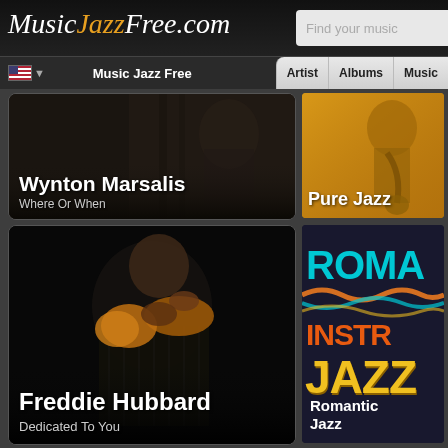[Figure (screenshot): MusicJazzFree.com website screenshot showing logo, search bar, navigation tabs (Artist, Albums, Music), and artist cards for Wynton Marsalis 'Where Or When' and Freddie Hubbard 'Dedicated To You', plus sidebar cards for Pure Jazz and Romantic Instrumental Jazz]